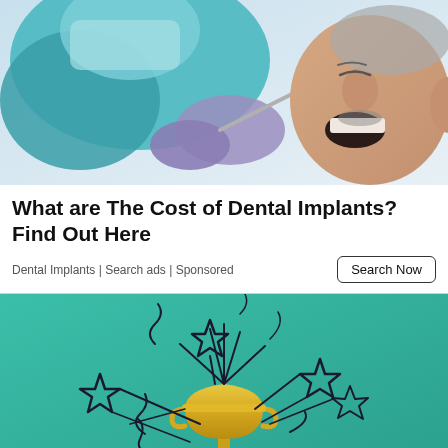[Figure (photo): A dentist in teal scrubs and purple gloves examining an elderly male patient's mouth with a dental mirror tool. Close-up clinical dental examination scene.]
What are The Cost of Dental Implants? Find Out Here
Dental Implants | Search ads | Sponsored
[Figure (photo): Teal/green background illustration showing a golden trophy cup with decorative star and firework line drawings bursting from it.]